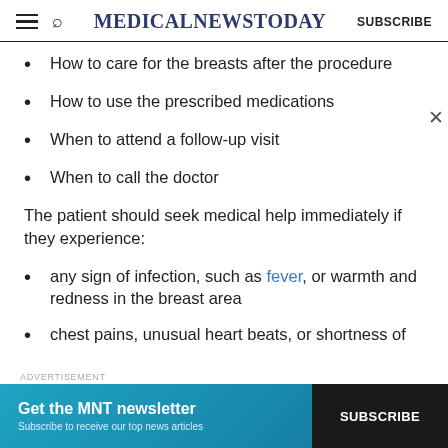MedicalNewsToday SUBSCRIBE
How to care for the breasts after the procedure
How to use the prescribed medications
When to attend a follow-up visit
When to call the doctor
The patient should seek medical help immediately if they experience:
any sign of infection, such as fever, or warmth and redness in the breast area
chest pains, unusual heart beats, or shortness of